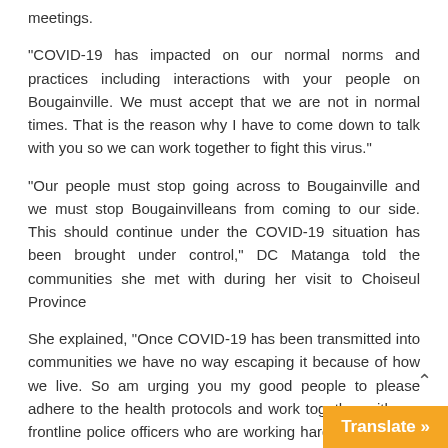meetings.
“COVID-19 has impacted on our normal norms and practices including interactions with your people on Bougainville. We must accept that we are not in normal times. That is the reason why I have to come down to talk with you so we can work together to fight this virus.”
“Our people must stop going across to Bougainville and we must stop Bougainvilleans from coming to our side. This should continue under the COVID-19 situation has been brought under control,” DC Matanga told the communities she met with during her visit to Choiseul Province
She explained, “Once COVID-19 has been transmitted into communities we have no way escaping it because of how we live. So am urging you my good people to please adhere to the health protocols and work together with our frontline police officers who are working hard to protect us all.”
“I strongly appeal to the few people who think they can sneak across the common border in